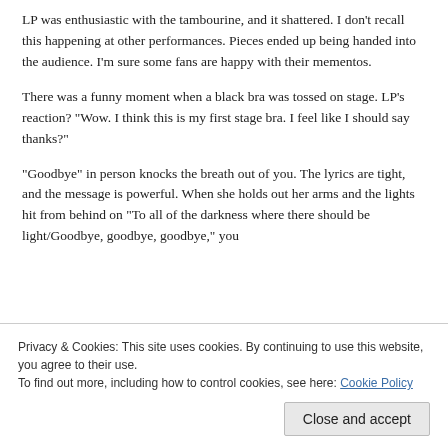LP was enthusiastic with the tambourine, and it shattered. I don’t recall this happening at other performances. Pieces ended up being handed into the audience. I’m sure some fans are happy with their mementos.
There was a funny moment when a black bra was tossed on stage. LP’s reaction? “Wow. I think this is my first stage bra. I feel like I should say thanks?”
“Goodbye” in person knocks the breath out of you. The lyrics are tight, and the message is powerful. When she holds out her arms and the lights hit from behind on “To all of the darkness where there should be light/Goodbye, goodbye, goodbye,” you
Privacy & Cookies: This site uses cookies. By continuing to use this website, you agree to their use.
To find out more, including how to control cookies, see here: Cookie Policy
staff came in to get drinks, which was cool. We